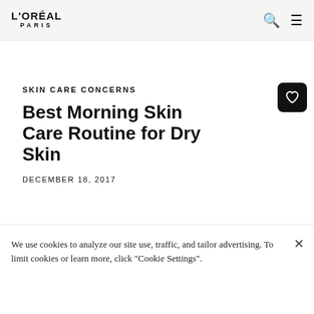L'ORÉAL PARIS
SKIN CARE CONCERNS
Best Morning Skin Care Routine for Dry Skin
DECEMBER 18, 2017
[Figure (photo): Partial view of a skin care product jar or cream container, warm beige/cream tones]
We use cookies to analyze our site use, traffic, and tailor advertising. To limit cookies or learn more, click "Cookie Settings".